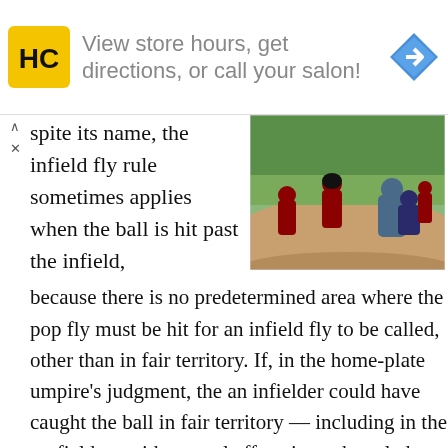[Figure (infographic): Advertisement banner for a salon/hair care business (HC logo in yellow square) with text 'View store hours, get directions, or call your salon!' and a blue navigation arrow icon on the right.]
spite its name, the infield fly rule sometimes applies when the ball is hit past the infield,
[Figure (photo): Baseball game photo showing players on the field including a batter, catcher, and umpire, with green trees in the background.]
because there is no predetermined area where the pop fly must be hit for an infield fly to be called, other than in fair territory. If, in the home-plate umpire's judgment, the an infielder could have caught the ball in fair territory — including in the outfield — with normal effort, it can be ruled an infield fly. So, for instance, if a shortstop could easily catch a